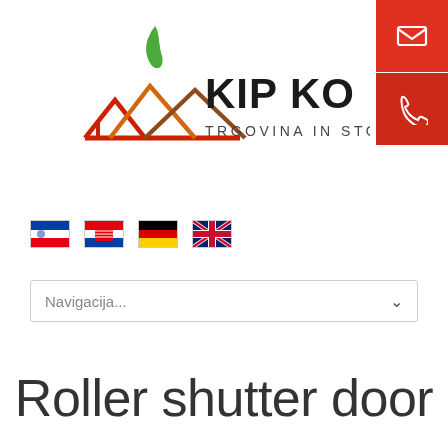[Figure (logo): KIP KOM Trgovina in storitve d.o.o. logo with house/roof graphic and green flame leaf icon]
[Figure (illustration): Four country flag icons: Slovenia, Croatia, Germany, United Kingdom]
Navigacija...
Roller shutter door